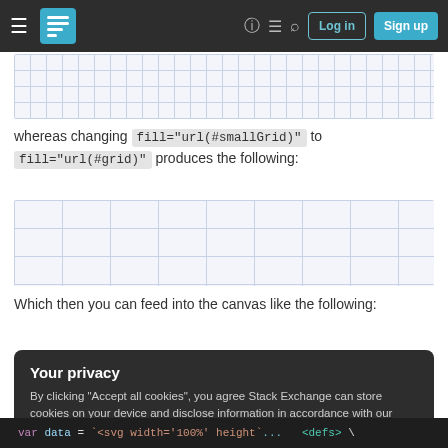Stack Exchange navigation bar with Log in and Sign up buttons
[Figure (screenshot): Grid pattern image placeholder (top), small repeating dot/line grid on light blue background]
whereas changing fill="url(#smallGrid)" to fill="url(#grid)" produces the following:
[Figure (screenshot): Grid pattern image placeholder (bottom), larger repeating grid on light blue background]
Which then you can feed into the canvas like the following:
Your privacy
By clicking "Accept all cookies", you agree Stack Exchange can store cookies on your device and disclose information in accordance with our Cookie Policy.
Accept all cookies   Customize settings
var data = `<svg width='100%' height=...
<defs> \